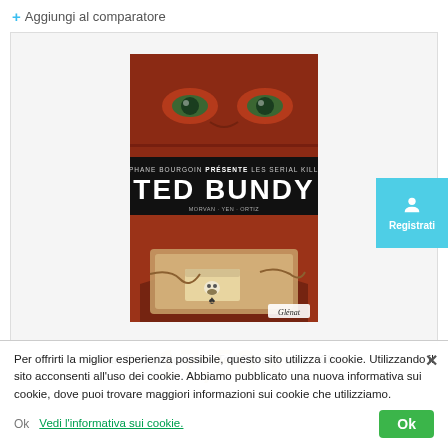+ Aggiungi al comparatore
[Figure (illustration): Book cover of 'Ted Bundy' from the series 'Les Serial Killers' presented by Stephane Bourgoin. Cover shows a close-up of a man's eyes in reddish tones at top, a black banner with the title text, and at the bottom a comic-style illustration of a car trunk with a shoe box and skull imagery. Published by Glenat.]
Registrati
Jean-David Morvan - Ted Bundy, Lady Killer...
Per offrirti la miglior esperienza possibile, questo sito utilizza i cookie. Utilizzando il sito acconsenti all'uso dei cookie. Abbiamo pubblicato una nuova informativa sui cookie, dove puoi trovare maggiori informazioni sui cookie che utilizziamo.
Vedi l'informativa sui cookie.
Ok